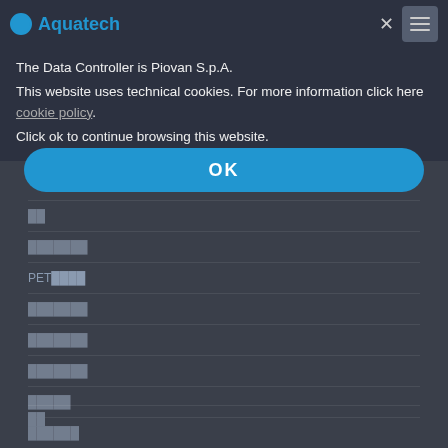Aquatech
The Data Controller is Piovan S.p.A.
This website uses technical cookies. For more information click here cookie policy.
Click ok to continue browsing this website.
OK
██
███████
PET████
███████
███████
███████
█████
██████
Water and environmental treatment
██
███
██
██